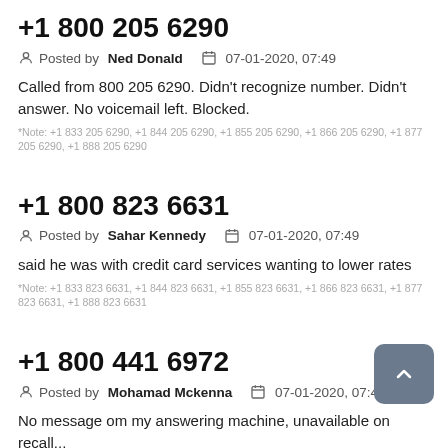+1 800 205 6290
Posted by Ned Donald   07-01-2020, 07:49
Called from 800 205 6290. Didn't recognize number. Didn't answer. No voicemail left. Blocked.
*Note: +1 833 205 6290, +1 844 205 6290, +1 855 205 6290, +1 866 205 6290, +1 877 205 6290, +1 888 205 6290
+1 800 823 6631
Posted by Sahar Kennedy   07-01-2020, 07:49
said he was with credit card services wanting to lower rates
*Note: +1 833 823 6631, +1 844 823 6631, +1 855 823 6631, +1 866 823 6631, +1 877 823 6631, +1 888 823 6631
+1 800 441 6972
Posted by Mohamad Mckenna   07-01-2020, 07:49
No message om my answering machine, unavailable on recall...